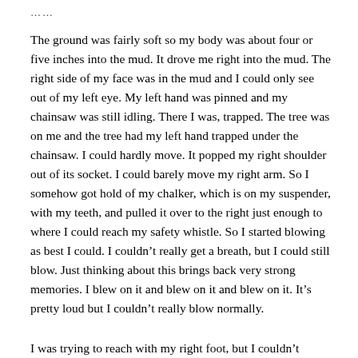……
The ground was fairly soft so my body was about four or five inches into the mud. It drove me right into the mud. The right side of my face was in the mud and I could only see out of my left eye. My left hand was pinned and my chainsaw was still idling. There I was, trapped. The tree was on me and the tree had my left hand trapped under the chainsaw. I could hardly move. It popped my right shoulder out of its socket. I could barely move my right arm. So I somehow got hold of my chalker, which is on my suspender, with my teeth, and pulled it over to the right just enough to where I could reach my safety whistle. So I started blowing as best I could. I couldn't really get a breath, but I could still blow. Just thinking about this brings back very strong memories. I blew on it and blew on it and blew on it. It's pretty loud but I couldn't really blow normally.
I was trying to reach with my right foot, but I couldn't…